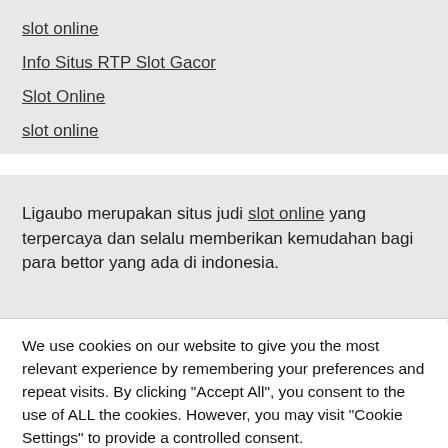slot online
Info Situs RTP Slot Gacor
Slot Online
slot online
Ligaubo merupakan situs judi slot online yang terpercaya dan selalu memberikan kemudahan bagi para bettor yang ada di indonesia.
We use cookies on our website to give you the most relevant experience by remembering your preferences and repeat visits. By clicking "Accept All", you consent to the use of ALL the cookies. However, you may visit "Cookie Settings" to provide a controlled consent.